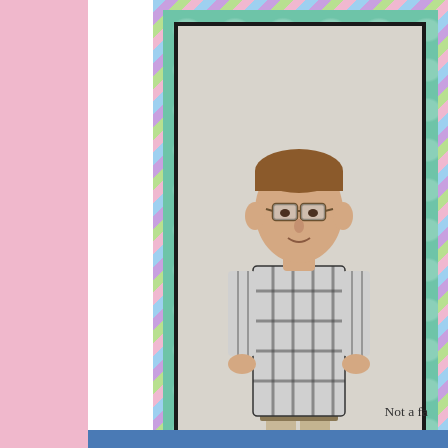[Figure (photo): A scrapbook page layout. On the right side, there is a decorative scrapbook element with a striped diagonal border (in blue, purple, green, pink stripes), a teal/green patterned mat with a clover-like pattern, a dark frame border, and inside it a photograph of a young man with glasses wearing a plaid short-sleeve shirt and beige/khaki pants, standing upright. Below the photo is a decorative blue strip with white swirl/doodle patterns and a black zigzag shape. The left portion of the page has a pink vertical bar on the far left edge, and the rest is white. At the bottom right there is partial text reading 'Not a fa'. At the very bottom there is a hint of a blue bar.]
Not a fa